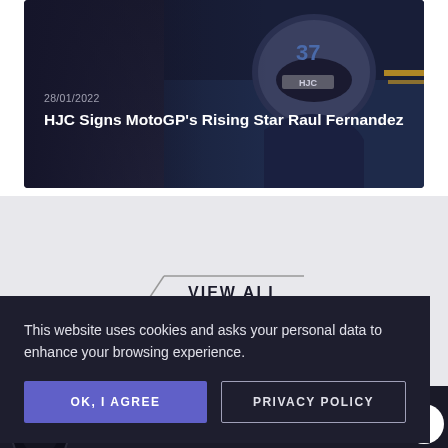[Figure (photo): News card with motorcycle racer wearing HJC helmet, dark background]
28/01/2022
HJC Signs MotoGP’s Rising Star Raul Fernandez
VIEW ALL
[Figure (photo): Dark motorcycle/racing background scene with RE text visible]
This website uses cookies and asks your personal data to enhance your browsing experience.
OK, I AGREE
PRIVACY POLICY